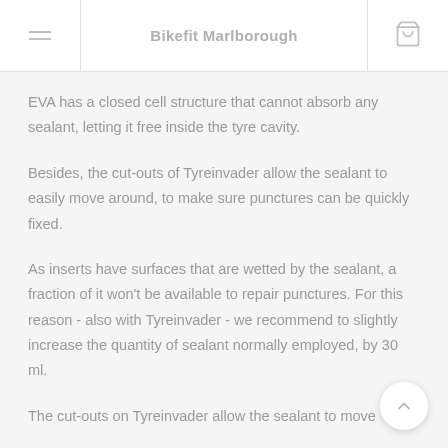Bikefit Marlborough
EVA has a closed cell structure that cannot absorb any sealant, letting it free inside the tyre cavity.
Besides, the cut-outs of Tyreinvader allow the sealant to easily move around, to make sure punctures can be quickly fixed.
As inserts have surfaces that are wetted by the sealant, a fraction of it won't be available to repair punctures. For this reason - also with Tyreinvader - we recommend to slightly increase the quantity of sealant normally employed, by 30 ml.
The cut-outs on Tyreinvader allow the sealant to move